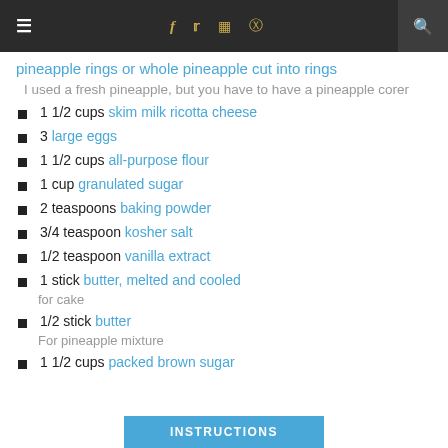≡  f  t  [instagram]  [pinterest]  [search]
pineapple rings or whole pineapple cut into rings
I used a fresh pineapple, but you have to have a pineapple corer
1 1/2 cups skim milk ricotta cheese
3 large eggs
1 1/2 cups all-purpose flour
1 cup granulated sugar
2 teaspoons baking powder
3/4 teaspoon kosher salt
1/2 teaspoon vanilla extract
1 stick butter, melted and cooled
for cake
1/2 stick butter
For pineapple mixture
1 1/2 cups packed brown sugar
INSTRUCTIONS